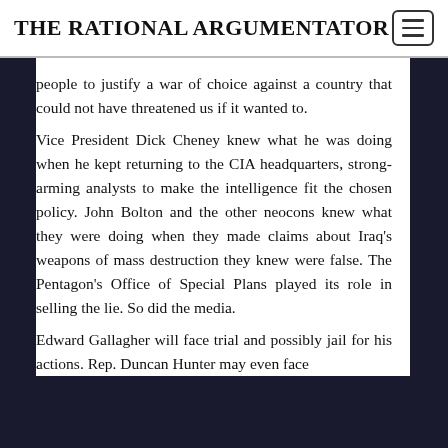THE RATIONAL ARGUMENTATOR
people to justify a war of choice against a country that could not have threatened us if it wanted to.
Vice President Dick Cheney knew what he was doing when he kept returning to the CIA headquarters, strong-arming analysts to make the intelligence fit the chosen policy. John Bolton and the other neocons knew what they were doing when they made claims about Iraq's weapons of mass destruction they knew were false. The Pentagon's Office of Special Plans played its role in selling the lie. So did the media.
Edward Gallagher will face trial and possibly jail for his actions. Rep. Duncan Hunter may even face